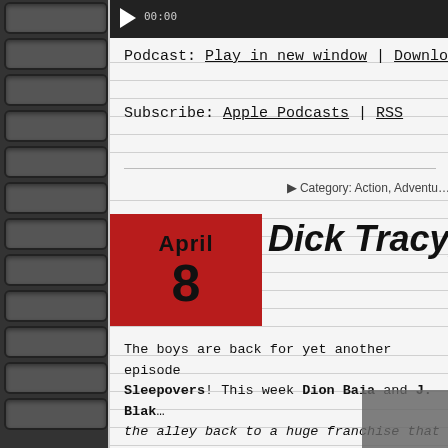[Figure (screenshot): Media player bar with play button and timestamp 00:00]
Podcast: Play in new window | Download
Subscribe: Apple Podcasts | RSS
Category: Action, Adventu…
Dick Tracy,
April 8
The boys are back for yet another episode Sleepovers! This week Dion Baia and J. Blak… the alley back to a huge franchise that was… childhood. A property that because of other getting reboots around the same time, this b… finally see a well-deserved adaptation, …th s… behind it. We are of course talking about. W…